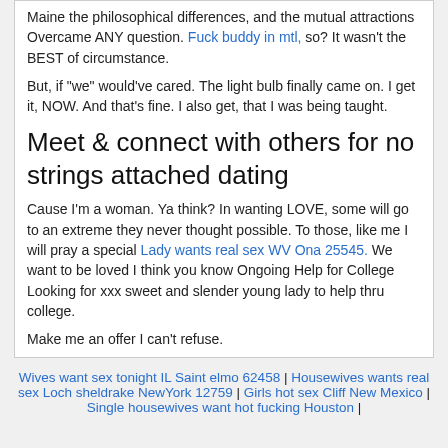Maine the philosophical differences, and the mutual attractions Overcame ANY question. Fuck buddy in mtl, so? It wasn't the BEST of circumstance.
But, if "we" would've cared. The light bulb finally came on. I get it, NOW. And that's fine. I also get, that I was being taught.
Meet & connect with others for no strings attached dating
Cause I'm a woman. Ya think? In wanting LOVE, some will go to an extreme they never thought possible. To those, like me I will pray a special Lady wants real sex WV Ona 25545. We want to be loved I think you know Ongoing Help for College Looking for xxx sweet and slender young lady to help thru college.
Make me an offer I can't refuse.
Wives want sex tonight IL Saint elmo 62458 | Housewives wants real sex Loch sheldrake NewYork 12759 | Girls hot sex Cliff New Mexico | Single housewives want hot fucking Houston |